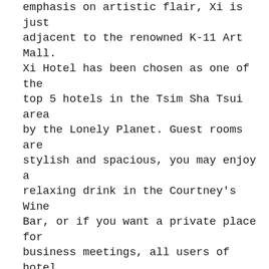emphasis on artistic flair, Xi is just adjacent to the renowned K-11 Art Mall. Xi Hotel has been chosen as one of the top 5 hotels in the Tsim Sha Tsui area by the Lonely Planet. Guest rooms are stylish and spacious, you may enjoy a relaxing drink in the Courtney's Wine Bar, or if you want a private place for business meetings, all users of hotel day packages (for just $395 (net) for 4 hours) are free to use the business lounge named Drawing Room with classically-appointed furniture, contemporary art, and more importantly, free flow of coffee.

Please visit our website for package